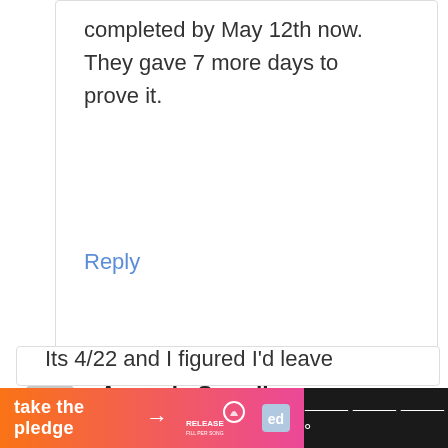completed by May 12th now. They gave 7 more days to prove it.
Reply
Amanda Sewell
April 22, 2021 at 3:32 pm
Its 4/22 and I figured I'd leave
[Figure (infographic): Ad banner with gradient orange-to-pink background reading 'take the pledge' with arrow and Release logo, on dark background with additional logo on right]